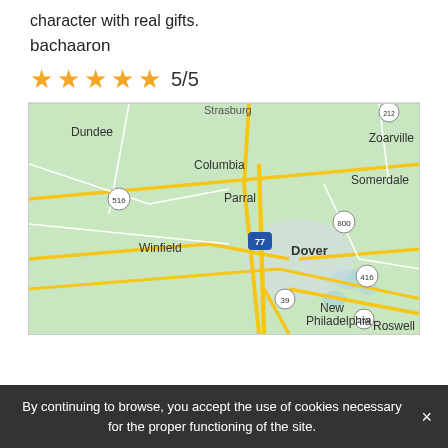character with real gifts.
bachaaron
★★★★★ 5/5
[Figure (map): Google Maps screenshot showing Dover, Ohio area with surrounding towns: Dundee, Strasburg, Columbia, Parral, Zoarville, Somerdale, Winfield, Dover, New Philadelphia, Roswell. Roads including Route 516, Route 800, Route 416, Route 39, Route 259, and Interstate 77 are visible.]
By continuing to browse, you accept the use of cookies necessary for the proper functioning of the site.